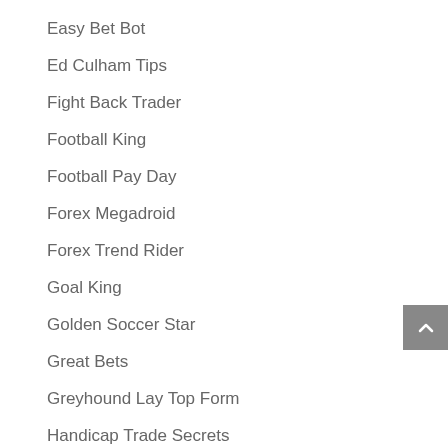Easy Bet Bot
Ed Culham Tips
Fight Back Trader
Football King
Football Pay Day
Forex Megadroid
Forex Trend Rider
Goal King
Golden Soccer Star
Great Bets
Greyhound Lay Top Form
Handicap Trade Secrets
Horse Network Tipster
HR Lay The Best